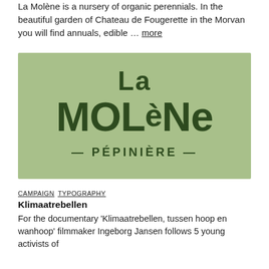La Molène is a nursery of organic perennials. In the beautiful garden of Chateau de Fougerette in the Morvan you will find annuals, edible … more
[Figure (logo): La Molène Pépinière logo on a sage green background. Large stylized text reads 'La MOLèNe' with '— PÉPINIÈRE —' below, all in dark forest green.]
CAMPAIGN  TYPOGRAPHY
Klimaatrebellen
For the documentary 'Klimaatrebellen, tussen hoop en wanhoop' filmmaker Ingeborg Jansen follows 5 young activists of